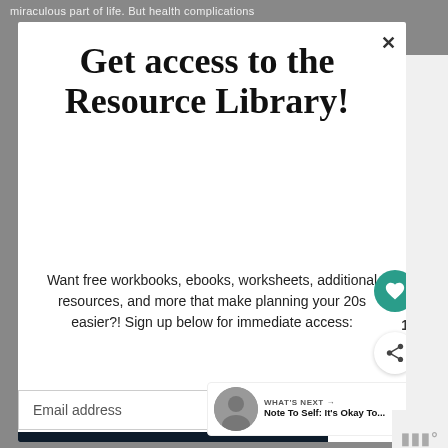miraculous part of life. But health complications
Get access to the Resource Library!
Want free workbooks, ebooks, worksheets, additional resources, and more that make planning your 20s easier?! Sign up below for immediate access:
Email address
[Figure (screenshot): SHE CAN STEM banner at bottom of modal]
WHAT'S NEXT → Note To Self: It's Okay To...